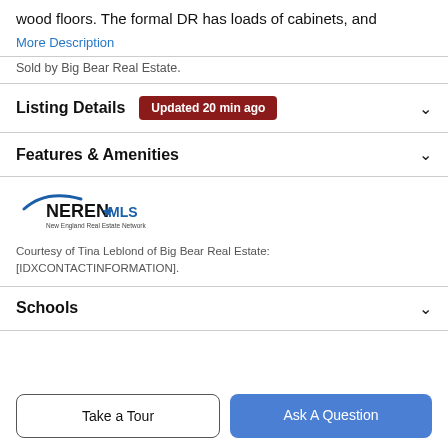wood floors. The formal DR has loads of cabinets, and
More Description
Sold by Big Bear Real Estate.
Listing Details  Updated 20 min ago
Features & Amenities
[Figure (logo): NEREN MLS logo - New England Real Estate Network]
Courtesy of Tina Leblond of Big Bear Real Estate: [IDXCONTACTINFORMATION].
Schools
Take a Tour
Ask A Question